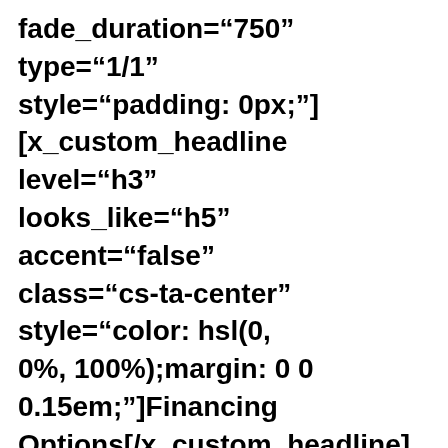fade_duration="750" type="1/1" style="padding: 0px;"] [x_custom_headline level="h3" looks_like="h5" accent="false" class="cs-ta-center" style="color: hsl(0, 0%, 100%);margin: 0 0 0.15em;"]Financing Options[/x_custom_headline][x_gap size="10px"][cs_text class="cs-ta-center" style="font-size:.6em;color:#e9e9e9;"]The Wells Fargo Home Projects credit card is issued by Wells Fargo Financial National Bank, an Equal Housing Lender. Special terms apply to qualifying purchases charged with approved credit. The special terms APR will continue to apply until all